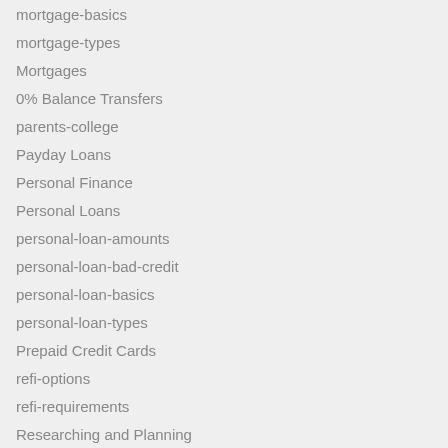mortgage-basics
mortgage-types
Mortgages
0% Balance Transfers
parents-college
Payday Loans
Personal Finance
Personal Loans
personal-loan-amounts
personal-loan-bad-credit
personal-loan-basics
personal-loan-types
Prepaid Credit Cards
refi-options
refi-requirements
Researching and Planning
rm-basics
Student credit
Student Loan Refinancing